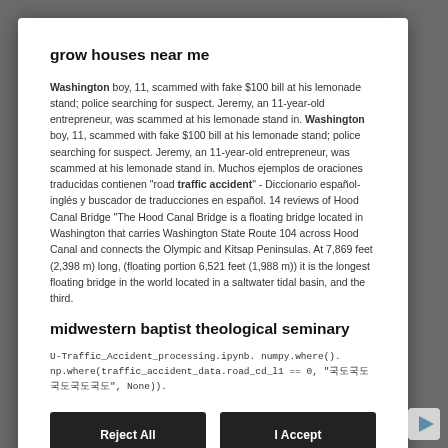grow houses near me
Washington boy, 11, scammed with fake $100 bill at his lemonade stand; police searching for suspect. Jeremy, an 11-year-old entrepreneur, was scammed at his lemonade stand in. Washington boy, 11, scammed with fake $100 bill at his lemonade stand; police searching for suspect. Jeremy, an 11-year-old entrepreneur, was scammed at his lemonade stand in. Muchos ejemplos de oraciones traducidas contienen "road traffic accident" - Diccionario español-inglés y buscador de traducciones en español. 14 reviews of Hood Canal Bridge "The Hood Canal Bridge is a floating bridge located in Washington that carries Washington State Route 104 across Hood Canal and connects the Olympic and Kitsap Peninsulas. At 7,869 feet (2,398 m) long, (floating portion 6,521 feet (1,988 m)) it is the longest floating bridge in the world located in a saltwater tidal basin, and the third.
midwestern baptist theological seminary
U-Traffic_Accident_processing.ipynb. numpy.where().
np.where(traffic_accident_data.road_cd_l1 == 0, "국도", None)).
Reject All
I Accept